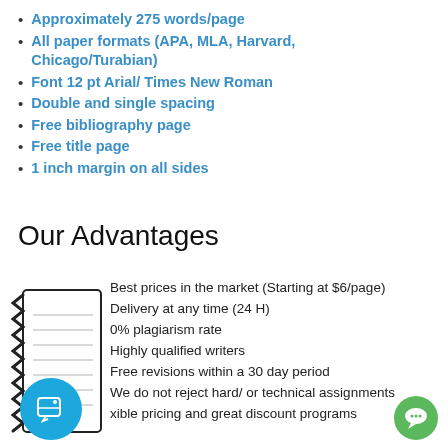Approximately 275 words/page
All paper formats (APA, MLA, Harvard, Chicago/Turabian)
Font 12 pt Arial/ Times New Roman
Double and single spacing
Free bibliography page
Free title page
1 inch margin on all sides
Our Advantages
Best prices in the market (Starting at $6/page)
Delivery at any time (24 H)
0% plagiarism rate
Highly qualified writers
Free revisions within a 30 day period
We do not reject hard/ or technical assignments
Flexible pricing and great discount programs
[Figure (illustration): Notebook/notepad icon with zigzag binding on the left side, black and white]
[Figure (illustration): Blue circle with a white price tag icon]
[Figure (illustration): Green circle with a white chat/message bubble icon]